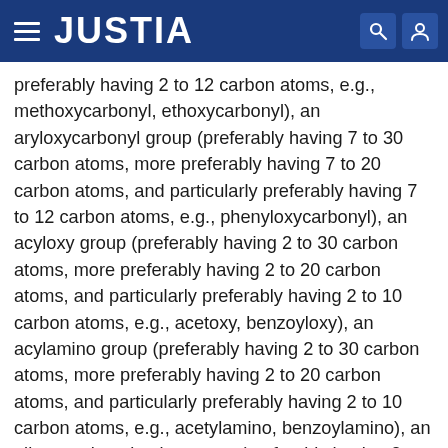JUSTIA
preferably having 2 to 12 carbon atoms, e.g., methoxycarbonyl, ethoxycarbonyl), an aryloxycarbonyl group (preferably having 7 to 30 carbon atoms, more preferably having 7 to 20 carbon atoms, and particularly preferably having 7 to 12 carbon atoms, e.g., phenyloxycarbonyl), an acyloxy group (preferably having 2 to 30 carbon atoms, more preferably having 2 to 20 carbon atoms, and particularly preferably having 2 to 10 carbon atoms, e.g., acetoxy, benzoyloxy), an acylamino group (preferably having 2 to 30 carbon atoms, more preferably having 2 to 20 carbon atoms, and particularly preferably having 2 to 10 carbon atoms, e.g., acetylamino, benzoylamino), an alkoxycarbonylamino group (preferably having 2 to 30 carbon atoms, more preferably having 2 to 20 carbon atoms, and particularly preferably having 2 to 12 carbon atoms, e.g., methoxycarbonylamino), an aryloxycarbonylamino